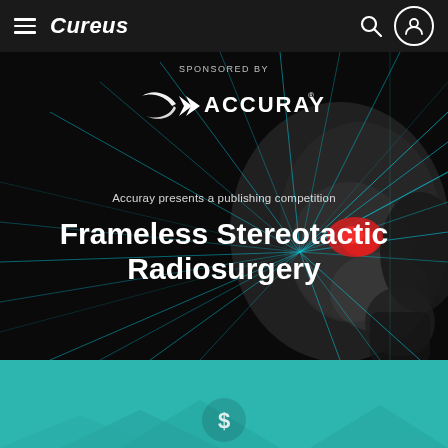Cureus
[Figure (screenshot): Cureus website screenshot showing the Accuray-sponsored publishing competition banner for Frameless Stereotactic Radiosurgery. Dark background with teal/cyan radiating lines from a brain target area. Accuray logo at top center. Text reads 'Sponsored by', 'Accuray presents a publishing competition', and 'Frameless Stereotactic Radiosurgery' as main title. Bottom portion shows teal/turquoise background with decorative arc shapes.]
Frameless Stereotactic Radiosurgery
Accuray presents a publishing competition